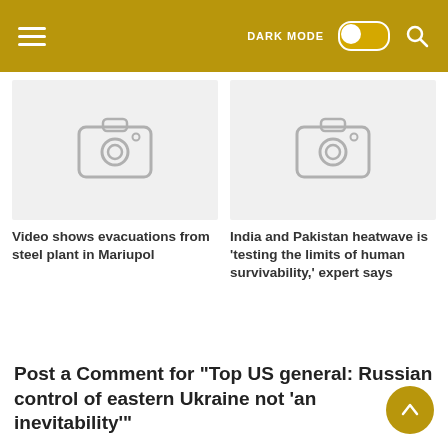DARK MODE
[Figure (photo): Placeholder image with camera icon for article about video showing evacuations from steel plant in Mariupol]
Video shows evacuations from steel plant in Mariupol
[Figure (photo): Placeholder image with camera icon for article about India and Pakistan heatwave]
India and Pakistan heatwave is 'testing the limits of human survivability,' expert says
Post a Comment for "Top US general: Russian control of eastern Ukraine not 'an inevitability'"
To leave a comment, click the button below to sign in with Google.
SIGN IN WITH GOOGLE